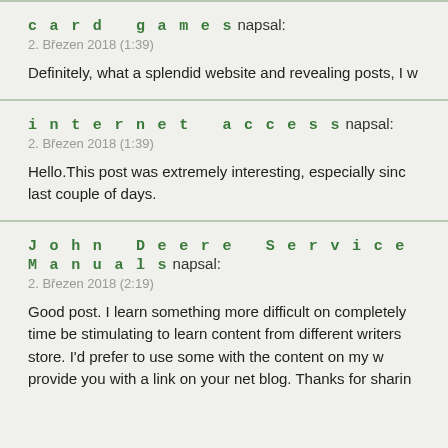card games napsal:
2. Březen 2018 (1:39)
Definitely, what a splendid website and revealing posts, I w
internet access napsal:
2. Březen 2018 (1:39)
Hello.This post was extremely interesting, especially sinc last couple of days.
John Deere Service Manuals napsal:
2. Březen 2018 (2:19)
Good post. I learn something more difficult on completely time be stimulating to learn content from different writers store. I'd prefer to use some with the content on my w provide you with a link on your net blog. Thanks for sharin